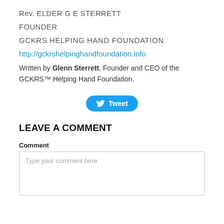Rev. ELDER G E STERRETT
FOUNDER
GCKRS HELPING HAND FOUNDATION
http://gckrshelpinghandfoundation.info
Written by Glenn Sterrett, Founder and CEO of the GCKRS™ Helping Hand Foundation.
[Figure (other): Twitter Tweet button]
LEAVE A COMMENT
Comment
Type your comment here